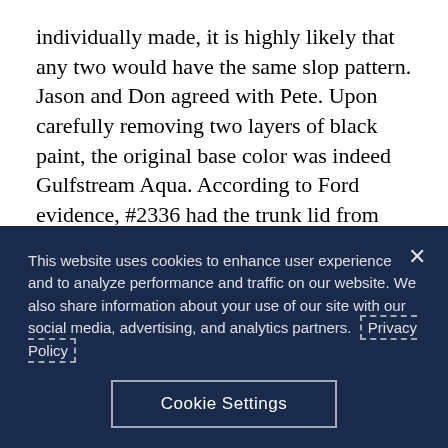individually made, it is highly likely that any two would have the same slop pattern. Jason and Don agreed with Pete. Upon carefully removing two layers of black paint, the original base color was indeed Gulfstream Aqua. According to Ford evidence, #2336 had the trunk lid from #2337. This raised big questions: What would have happened for #2337 to give up its trunk lid? There were only two prototype convertibles; does this mean #2337 was parted out, and if so, why? The other question is, what happened to the #2336 original decklid?
The FordImages.com archive photographs of #2337 helped immensely to produce an accurate #2336 restoration. Take
This website uses cookies to enhance user experience and to analyze performance and traffic on our website. We also share information about your use of our site with our social media, advertising, and analytics partners. Privacy Policy
Cookie Settings